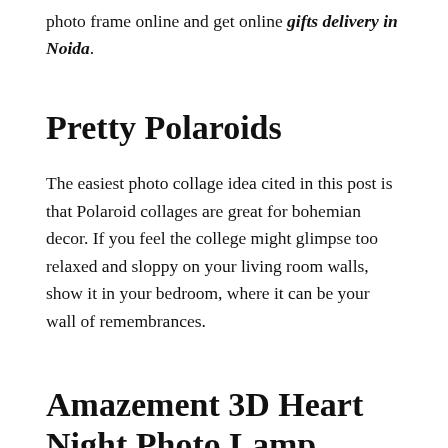photo frame online and get online gifts delivery in Noida.
Pretty Polaroids
The easiest photo collage idea cited in this post is that Polaroid collages are great for bohemian decor. If you feel the college might glimpse too relaxed and sloppy on your living room walls, show it in your bedroom, where it can be your wall of remembrances.
Amazement 3D Heart Night Photo Lamp Light